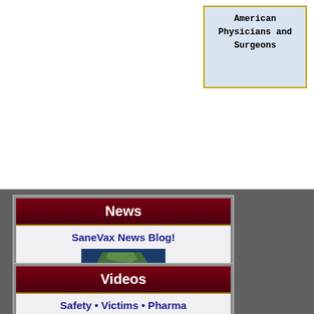American Physicians and Surgeons
News
SaneVax News Blog!
[Figure (map): Satellite map image showing the Indian subcontinent]
Videos
Safety • Victims • Pharma
[Figure (screenshot): Text sign reading THERE IS NO SUCH THING AS]